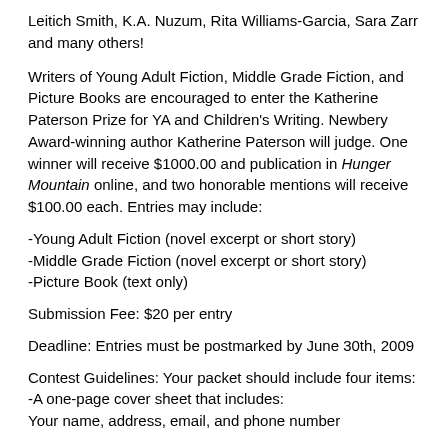Leitich Smith, K.A. Nuzum, Rita Williams-Garcia, Sara Zarr and many others!
Writers of Young Adult Fiction, Middle Grade Fiction, and Picture Books are encouraged to enter the Katherine Paterson Prize for YA and Children's Writing. Newbery Award-winning author Katherine Paterson will judge. One winner will receive $1000.00 and publication in Hunger Mountain online, and two honorable mentions will receive $100.00 each. Entries may include:
-Young Adult Fiction (novel excerpt or short story)
-Middle Grade Fiction (novel excerpt or short story)
-Picture Book (text only)
Submission Fee: $20 per entry
Deadline: Entries must be postmarked by June 30th, 2009
Contest Guidelines: Your packet should include four items:
-A one-page cover sheet that includes:
Your name, address, email, and phone number